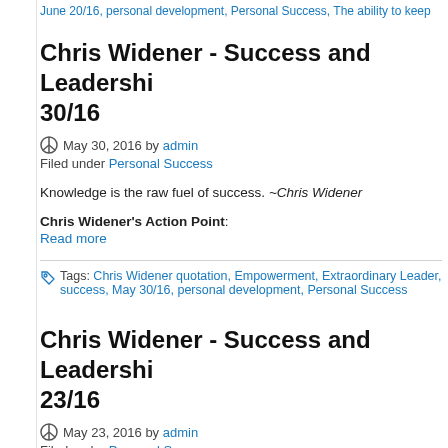June 20/16, personal development, Personal Success, The ability to keep
Chris Widener - Success and Leadership 30/16
May 30, 2016 by admin
Filed under Personal Success
Knowledge is the raw fuel of success. ~Chris Widener
Chris Widener's Action Point:
Read more
Tags: Chris Widener quotation, Empowerment, Extraordinary Leader, success, May 30/16, personal development, Personal Success
Chris Widener - Success and Leadership 23/16
May 23, 2016 by admin
Filed under Personal Success